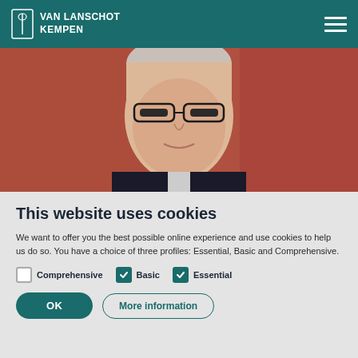VAN LANSCHOT KEMPEN
[Figure (photo): Portrait painting of an older man with glasses, wearing a dark suit, against a reddish-brown background]
This website uses cookies
We want to offer you the best possible online experience and use cookies to help us do so. You have a choice of three profiles: Essential, Basic and Comprehensive.
Comprehensive (unchecked), Basic (checked), Essential (checked)
OK | More information